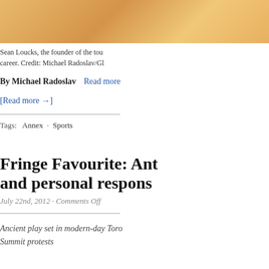[Figure (photo): Basketball court floor — wood surface with light reflection and a white line visible]
Sean Loucks, the founder of the tou career. Credit: Michael Radoslav/Gl
By Michael Radoslav   Read more
[Read more →]
Tags:   Annex  ·  Sports
Fringe Favourite: Ant and personal respons
July 22nd, 2012 · Comments Off
Ancient play set in modern-day Toro Summit protests